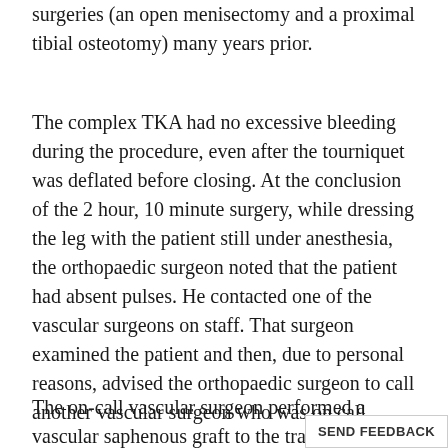surgeries (an open menisectomy and a proximal tibial osteotomy) many years prior.
The complex TKA had no excessive bleeding during the procedure, even after the tourniquet was deflated before closing. At the conclusion of the 2 hour, 10 minute surgery, while dressing the leg with the patient still under anesthesia, the orthopaedic surgeon noted that the patient had absent pulses. He contacted one of the vascular surgeons on staff. That surgeon examined the patient and then, due to personal reasons, advised the orthopaedic surgeon to call another vascular surgeon who was on call.
The on-call vascular surgeon performed a vascular saphenous graft to the transected popliteal artery. This surgery starte